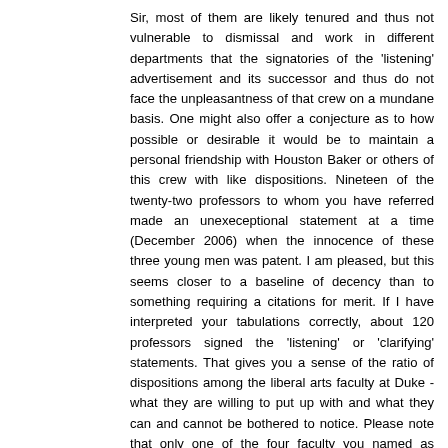Sir, most of them are likely tenured and thus not vulnerable to dismissal and work in different departments that the signatories of the 'listening' advertisement and its successor and thus do not face the unpleasantness of that crew on a mundane basis. One might also offer a conjecture as to how possible or desirable it would be to maintain a personal friendship with Houston Baker or others of this crew with like dispositions. Nineteen of the twenty-two professors to whom you have referred made an unexeceptional statement at a time (December 2006) when the innocence of these three young men was patent. I am pleased, but this seems closer to a baseline of decency than to something requiring a citations for merit. If I have interpreted your tabulations correctly, about 120 professors signed the 'listening' or 'clarifying' statements. That gives you a sense of the ratio of dispositions among the liberal arts faculty at Duke - what they are willing to put up with and what they can and cannot be bothered to notice. Please note that only one of the four faculty you named as having stuck their necks out prior to December came from the liberal-arts faculty. Here is a solution: move the Economics faculty to the business school, move the